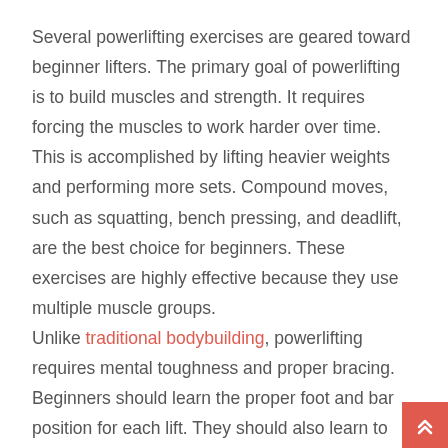Several powerlifting exercises are geared toward beginner lifters. The primary goal of powerlifting is to build muscles and strength. It requires forcing the muscles to work harder over time. This is accomplished by lifting heavier weights and performing more sets. Compound moves, such as squatting, bench pressing, and deadlift, are the best choice for beginners. These exercises are highly effective because they use multiple muscle groups.

Unlike traditional bodybuilding, powerlifting requires mental toughness and proper bracing. Beginners should learn the proper foot and bar position for each lift. They should also learn to sacrifice and root